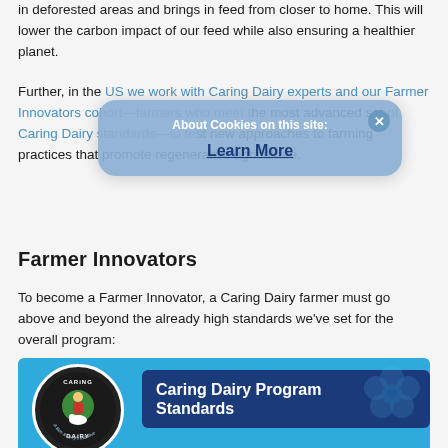in deforested areas and brings in feed from closer to home. This will lower the carbon impact of our feed while also ensuring a healthier planet.
Further, in the US we work with Caring Dairy experts and our Farmer Innovators cohort—farmers who meet the most advanced set of Caring Dairy standards—to test new approaches to farming practices that promote regenerative agriculture.
Farmer Innovators
To become a Farmer Innovator, a Caring Dairy farmer must go above and beyond the already high standards we've set for the overall program:
[Figure (infographic): Caring Dairy Program Standards infographic with Caring Dairy logo (circular badge with farmer and cow, 'A Ben & Jerry's Initiative') on blue background, dark blue banner reading 'Caring Dairy Program Standards', decorative flower shapes in lighter blue]
[Figure (screenshot): Cookie consent modal overlay: 'About Cookies on this site:' title with a 'Learn More' link in blue text, close button (X) in top right, semi-transparent blue background]